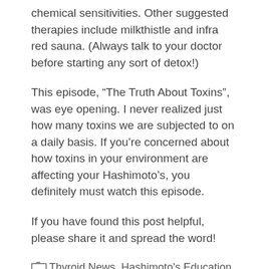chemical sensitivities. Other suggested therapies include milkthistle and infra red sauna. (Always talk to your doctor before starting any sort of detox!)
This episode, “The Truth About Toxins”, was eye opening. I never realized just how many toxins we are subjected to on a daily basis. If you’re concerned about how toxins in your environment are affecting your Hashimoto’s, you definitely must watch this episode.
If you have found this post helpful, please share it and spread the word!
Thyroid News, Hashimoto's Education, Thyroid Info